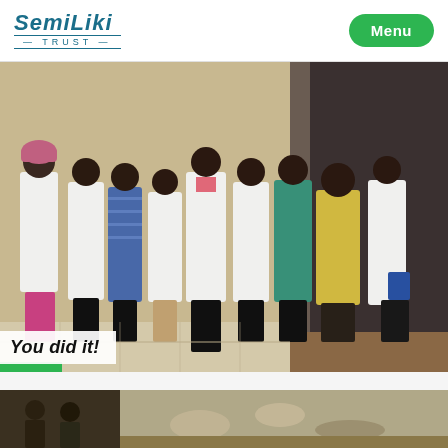Semiliki Trust — Menu
[Figure (photo): Group photo of approximately 9 people, mostly wearing white lab coats, standing together indoors. One woman on the left wears a colorful head covering and a white coat. Others include men in lab coats, a man in a blue striped shirt, a man in a teal/green scrub top, and a man in a yellow shirt. There is a dark curtain in the background on the right side.]
You did it!
[Figure (photo): Partial view of a second photo showing people outdoors and a wall with peeling paint.]